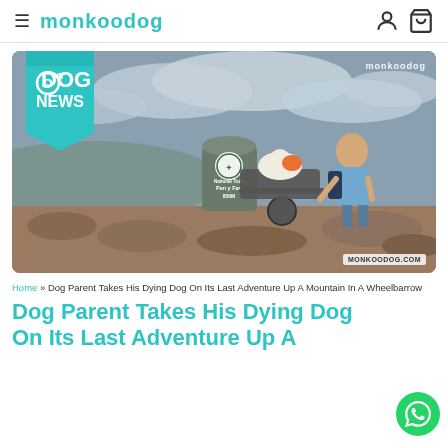monkoodog
[Figure (photo): Hero image showing a man crouching next to a wheelbarrow containing a small white fluffy dog at the Pen y Fan mountain summit (856M), with a National Trust marker stone visible. The man wears a blue t-shirt and backpack. Overcast sky in background. 'DOG NEWS' ribbon banner in top-left corner. Monkoodog watermarks on the image.]
Home » Dog Parent Takes His Dying Dog On Its Last Adventure Up A Mountain In A Wheelbarrow
Dog Parent Takes His Dying Dog On Its Last Adventure Up A